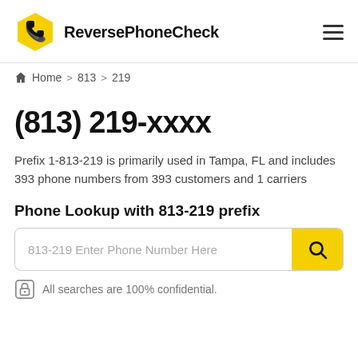ReversePhoneCheck
Home > 813 > 219
(813) 219-xxxx
Prefix 1-813-219 is primarily used in Tampa, FL and includes 393 phone numbers from 393 customers and 1 carriers
Phone Lookup with 813-219 prefix
813-219 Enter Phone Number Here
All searches are 100% confidential.